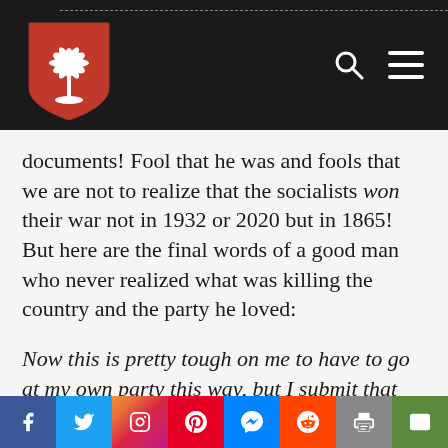[Figure (logo): Red shield logo with white palmetto tree, on dark navigation bar with search and menu icons]
documents! Fool that he was and fools that we are not to realize that the socialists won their war not in 1932 or 2020 but in 1865! But here are the final words of a good man who never realized what was killing the country and the party he loved:
Now this is pretty tough on me to have to go at my own party this way, but I submit that there is a limit to blind
[Figure (infographic): Social media share bar with Facebook, Twitter, Instagram, Pinterest, Messenger, Reddit, Print, and Email buttons]